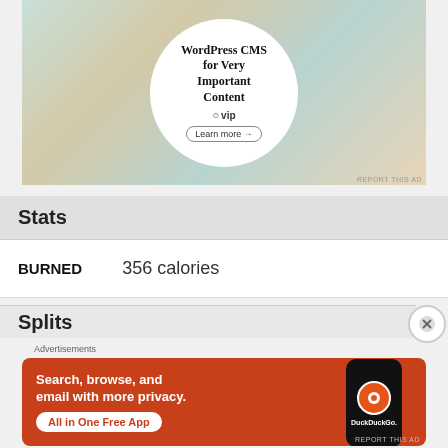[Figure (screenshot): WordPress VIP advertisement showing company logos on cards with a circular overlay reading 'WordPress CMS for Very Important Content' with WP VIP logo and Learn more button]
Stats
BURNED    356 calories
Splits
[Figure (screenshot): DuckDuckGo advertisement on orange background: 'Search, browse, and email with more privacy. All in One Free App' with phone mockup showing DuckDuckGo logo]